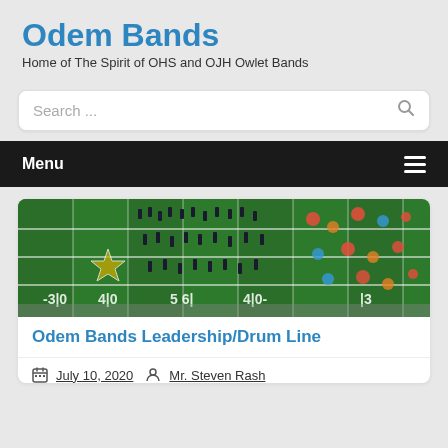Odem Bands
Home of The Spirit of OHS and OJH Owlet Bands
Search ...
Menu
[Figure (photo): Aerial view of a marching band performing on a football field with yard line markings visible]
Odem Bands Leadership/Drum Line
July 10, 2020   Mr. Steven Rash